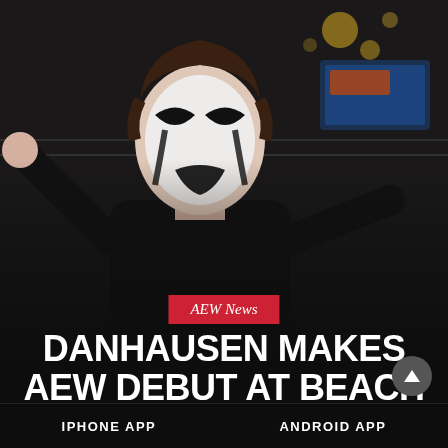[Figure (photo): Danhausen wrestler in black turtleneck with dramatic face paint (white base, black markings around eyes and mouth), pointing at camera, in front of an AEW wrestling ring with lights and AEW Beach Break banner visible in background]
AEW News
DANHAUSEN MAKES AEW DEBUT AT BEACH BREAK
JANUARY 26, 2022 | H JENKINS
IPHONE APP   ANDROID APP